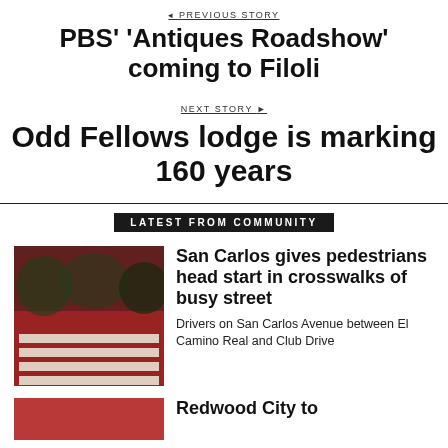◂ PREVIOUS STORY
PBS' 'Antiques Roadshow' coming to Filoli
NEXT STORY ▸
Odd Fellows lodge is marking 160 years
LATEST FROM COMMUNITY
[Figure (photo): Aerial view of a crosswalk on a red paved street]
San Carlos gives pedestrians head start in crosswalks of busy street
Drivers on San Carlos Avenue between El Camino Real and Club Drive
[Figure (photo): Red colored image, partially visible]
Redwood City to